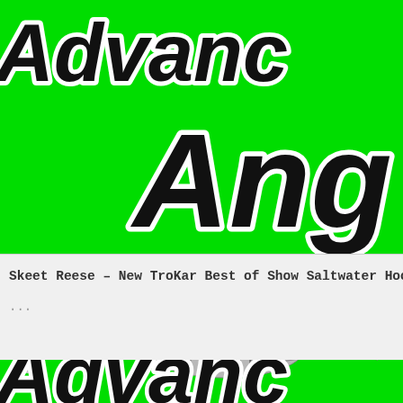[Figure (logo): Top green banner with 'Advanced Ang...' text in large bold italic black font with white stroke, partially cropped]
Skeet Reese – New TroKar Best of Show Saltwater Hoo...
...
[Figure (logo): Bottom green banner with a silver TroKar fish hook / bait logo and 'Advance...' text in large bold italic black font with white stroke, partially cropped]